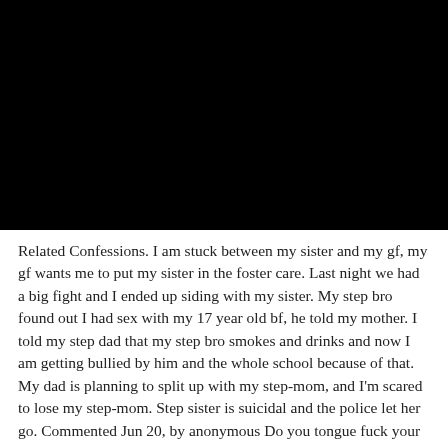[Figure (photo): Large black rectangle occupying the top portion of the page, likely a redacted or blacked-out image.]
Related Confessions. I am stuck between my sister and my gf, my gf wants me to put my sister in the foster care. Last night we had a big fight and I ended up siding with my sister. My step bro found out I had sex with my 17 year old bf, he told my mother. I told my step dad that my step bro smokes and drinks and now I am getting bullied by him and the whole school because of that. My dad is planning to split up with my step-mom, and I'm scared to lose my step-mom. Step sister is suicidal and the police let her go. Commented Jun 20, by anonymous Do you tongue fuck your step sister an lick her clit an drink her cum.